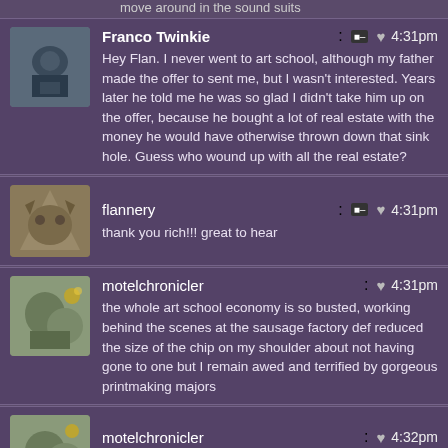move around in the sound suits
Franco Twinkie: Hey Flan. I never went to art school, although my father made the offer to sent me, but I wasn't interested. Years later he told me he was so glad I didn't take him up on the offer, because he bought a lot of real estate with the money he would have otherwise thrown down that sink hole. Guess who wound up with all the real estate? 4:31pm
flannery: thank you rich!!! great to hear 4:31pm
motelchronicler: the whole art school economy is so busted, working behind the scenes at the sausage factory def reduced the size of the chip on my shoulder about not having gone to one but I remain awed and terrified by gorgeous printmaking majors 4:31pm
motelchronicler: holy cow would love to wear a sound suit!!! 4:32pm
flannery: you have a lot of real estate?!?! 4:32pm